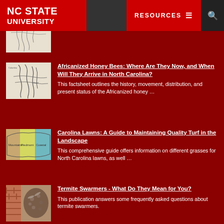NC STATE UNIVERSITY | RESOURCES
[Figure (screenshot): Partial thumbnail of a map, cropped at top of page]
Africanized Honey Bees: Where Are They Now, and When Will They Arrive in North Carolina? — This factsheet outlines the history, movement, distribution, and present status of the Africanized honey …
Carolina Lawns: A Guide to Maintaining Quality Turf in the Landscape — This comprehensive guide offers information on different grasses for North Carolina lawns, as well …
Termite Swarmers - What Do They Mean for You? — This publication answers some frequently asked questions about termite swarmers.